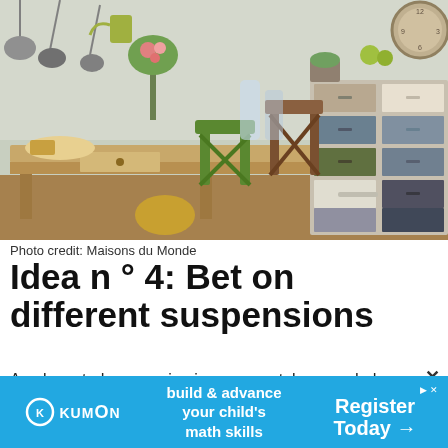[Figure (photo): Interior kitchen scene with rustic wooden furniture, colorful multi-drawer dresser/cabinet, green metal chairs, hanging pots and pans, flowers and plants, vintage decor items on a wooden farm table]
Photo credit: Maisons du Monde
Idea n ° 4: Bet on different suspensions
An elongated suspension in green metal, a rounded suspension in white metal; in your countryside decoration no need to touch perfection. On the contrary, we like the mixtur
[Figure (other): Kumon advertisement banner: 'build & advance your child's math skills' with Register Today arrow button]